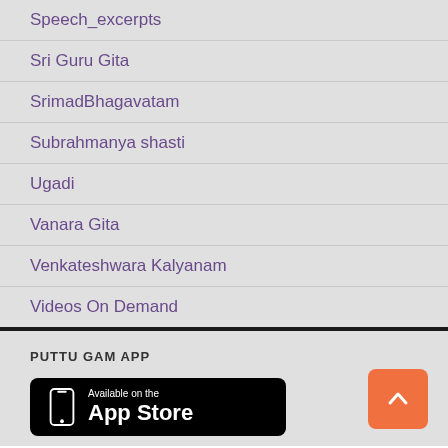Speech_excerpts
Sri Guru Gita
SrimadBhagavatam
Subrahmanya shasti
Ugadi
Vanara Gita
Venkateshwara Kalyanam
Videos On Demand
PUTTU GAM APP
[Figure (screenshot): Available on the App Store badge - black rounded rectangle with phone icon and text 'Available on the App Store']
[Figure (other): Orange back-to-top button with upward arrow chevron]